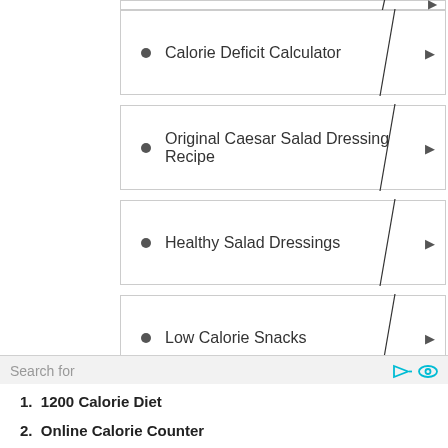Calorie Deficit Calculator
Original Caesar Salad Dressing Recipe
Healthy Salad Dressings
Low Calorie Snacks
View exercises with similar calorie amounts:
Search for
1200 Calorie Diet
Online Calorie Counter